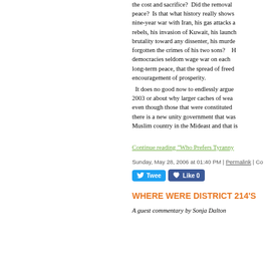the cost and sacrifice? Did the removal peace? Is that what history really shows nine-year war with Iran, his gas attacks a rebels, his invasion of Kuwait, his launch brutality toward any dissenter, his murde forgotten the crimes of his two sons? H democracies seldom wage war on each long-term peace, that the spread of freed encouragement of prosperity.
It does no good now to endlessly argue 2003 or about why larger caches of wea even though those that were constituted there is a new unity government that was Muslim country in the Mideast and that is
Continue reading "Who Prefers Tyranny
Sunday, May 28, 2006 at 01:40 PM | Permalink | Co
WHERE WERE DISTRICT 214'S
A guest commentary by Sonja Dalton